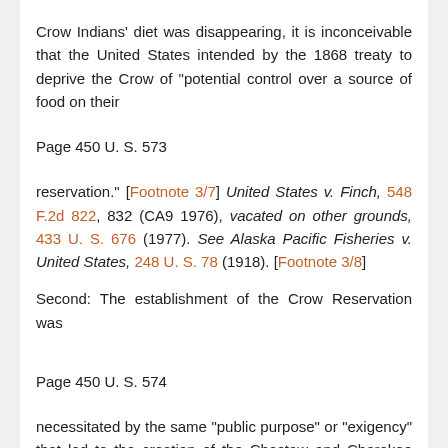Crow Indians' diet was disappearing, it is inconceivable that the United States intended by the 1868 treaty to deprive the Crow of "potential control over a source of food on their
Page 450 U. S. 573
reservation." [Footnote 3/7] United States v. Finch, 548 F.2d 822, 832 (CA9 1976), vacated on other grounds, 433 U. S. 676 (1977). See Alaska Pacific Fisheries v. United States, 248 U. S. 78 (1918). [Footnote 3/8]
Second: The establishment of the Crow Reservation was
Page 450 U. S. 574
necessitated by the same "public purpose" or "exigency" that led to the creation of the Choctaw and Cherokee Reservations discussed in Choctaw Nation v. Oklahoma